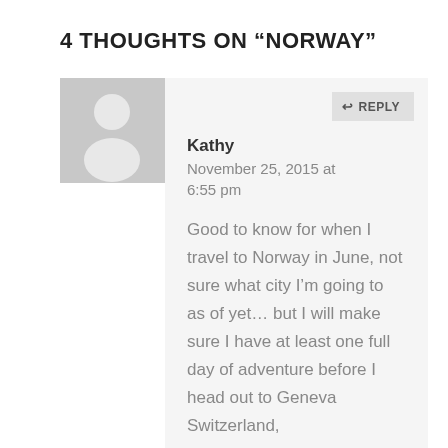4 THOUGHTS ON “NORWAY”
[Figure (illustration): Default user avatar placeholder: grey square with white silhouette of a person (head and shoulders)]
Kathy
November 25, 2015 at 6:55 pm
Good to know for when I travel to Norway in June, not sure what city I’m going to as of yet… but I will make sure I have at least one full day of adventure before I head out to Geneva Switzerland,